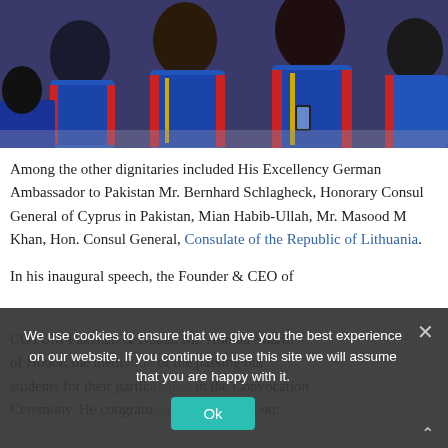[Figure (photo): Students in blue and red graduation robes/gowns seated at a convocation ceremony. One student is looking at a phone.]
Among the other dignitaries included His Excellency German Ambassador to Pakistan Mr. Bernhard Schlagheck, Honorary Consul General of Cyprus in Pakistan, Mian Habib-Ullah, Mr. Masood M Khan, Hon. Consul General, Consulate of the Republic of Lithuania.
In his inaugural speech, the Founder & CEO of COTUM Pakistan & Dubai, Mr. Ahmad Sharif, of Honor, the medi... of the passing out students for their participation in the Convocation Ceremony. He congratulated the students on...
We use cookies to ensure that we give you the best experience on our website. If you continue to use this site we will assume that you are happy with it.